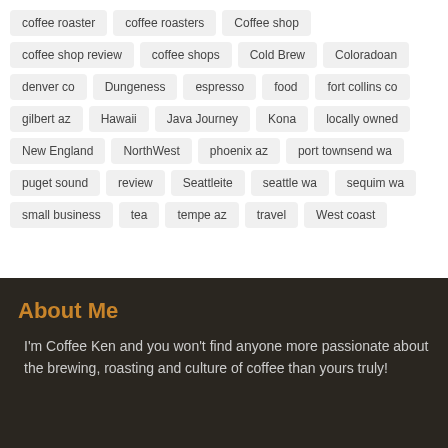coffee roaster
coffee roasters
Coffee shop
coffee shop review
coffee shops
Cold Brew
Coloradoan
denver co
Dungeness
espresso
food
fort collins co
gilbert az
Hawaii
Java Journey
Kona
locally owned
New England
NorthWest
phoenix az
port townsend wa
puget sound
review
Seattleite
seattle wa
sequim wa
small business
tea
tempe az
travel
West coast
About Me
I'm Coffee Ken and you won't find anyone more passionate about the brewing, roasting and culture of coffee than yours truly!